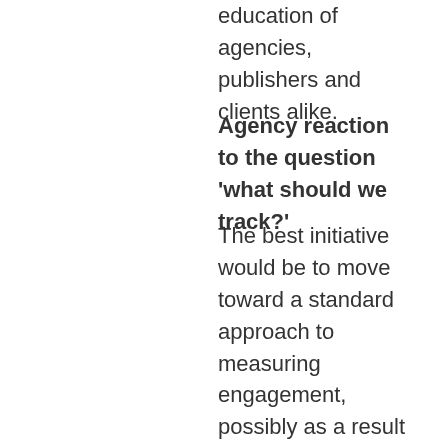education of agencies, publishers and clients alike.
Agency reaction to the question 'what should we track?'
The best initiative would be to move toward a standard approach to measuring engagement, possibly as a result of comparable relative engagements by measuring individual events per ad view. Initiatives such as Newsworks 'Tablet Project' are already making in-roads and we look forward to feeding into the debate and digesting their resulting